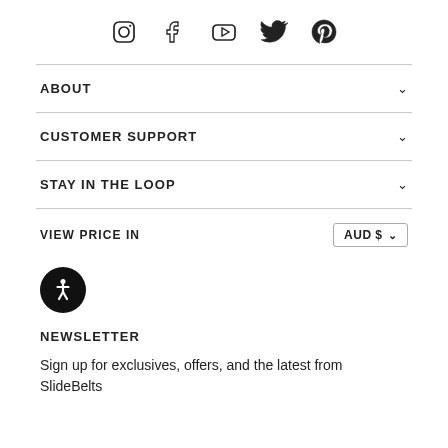[Figure (illustration): Social media icons: Instagram, Facebook, YouTube, Twitter, Pinterest]
ABOUT
CUSTOMER SUPPORT
STAY IN THE LOOP
VIEW PRICE IN   AUD $
[Figure (illustration): Accessibility icon - person in circle]
NEWSLETTER
Sign up for exclusives, offers, and the latest from SlideBelts